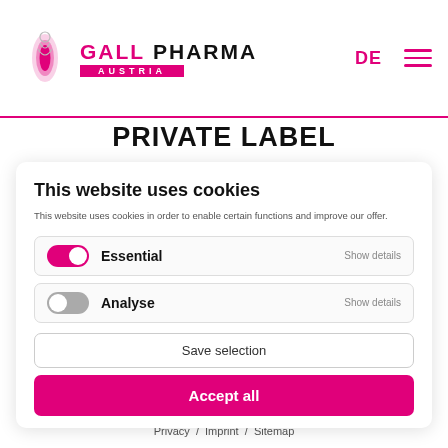[Figure (logo): Gall Pharma Austria logo with pink capsule icon and pink/black text]
PRIVATE LABEL
Your company, your brand. Gall Pharma Austria has been manufacturing nutritional supplements and cosmetics for over 40 years. As experts in this field, we know that people have developed a strong awareness of health in recent years and are increasingly looking for alternative healing methods. The demand for nutritional supplements is increasing and customers rely
This website uses cookies
This website uses cookies in order to enable certain functions and improve our offer.
Essential   Show details
Analyse   Show details
Save selection
Accept all
Privacy   Imprint   Sitemap